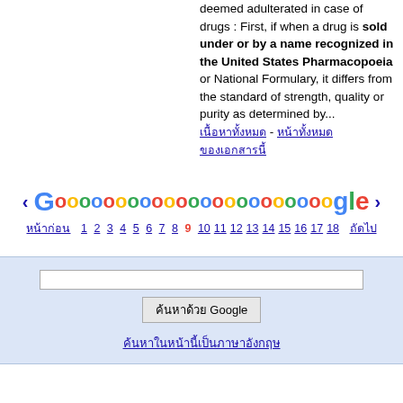deemed adulterated in case of drugs : First, if when a drug is sold under or by a name recognized in the United States Pharmacopoeia or National Formulary, it differs from the standard of strength, quality or purity as determined by...
[Thai text] - [Thai text link] [Thai text link]
[Figure (screenshot): Google pagination navigation showing colored Google logo dots and page numbers 1-18, with current page 9 highlighted in red. Navigation arrows on left and right. Thai text navigation links.]
[Figure (screenshot): Google search box section with light blue background, text input field, search button with Thai text, and a Thai text link below.]